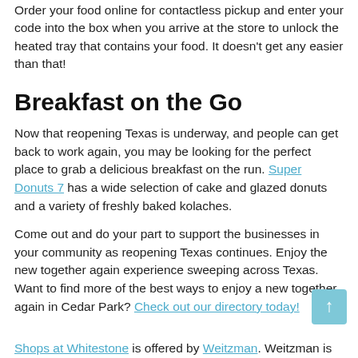Order your food online for contactless pickup and enter your code into the box when you arrive at the store to unlock the heated tray that contains your food. It doesn't get any easier than that!
Breakfast on the Go
Now that reopening Texas is underway, and people can get back to work again, you may be looking for the perfect place to grab a delicious breakfast on the run. Super Donuts 7 has a wide selection of cake and glazed donuts and a variety of freshly baked kolaches.
Come out and do your part to support the businesses in your community as reopening Texas continues. Enjoy the new together again experience sweeping across Texas. Want to find more of the best ways to enjoy a new together again in Cedar Park? Check out our directory today!
Shops at Whitestone is offered by Weitzman. Weitzman is